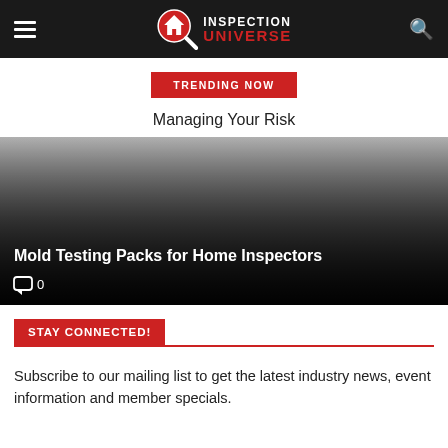Inspection Universe
TRENDING NOW
Managing Your Risk
[Figure (photo): Featured article image with dark gradient overlay showing article title 'Mold Testing Packs for Home Inspectors' with comment count 0]
STAY CONNECTED!
Subscribe to our mailing list to get the latest industry news, event information and member specials.